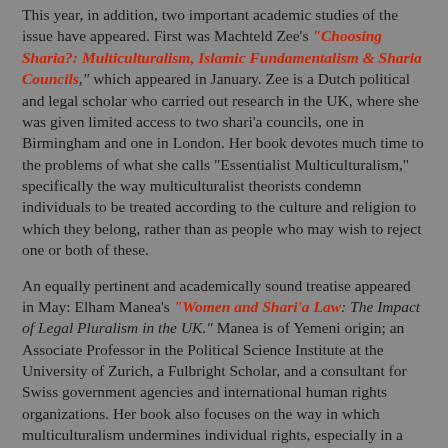This year, in addition, two important academic studies of the issue have appeared. First was Machteld Zee's "Choosing Sharia?: Multiculturalism, Islamic Fundamentalism & Sharia Councils," which appeared in January. Zee is a Dutch political and legal scholar who carried out research in the UK, where she was given limited access to two shari'a councils, one in Birmingham and one in London. Her book devotes much time to the problems of what she calls "Essentialist Multiculturalism," specifically the way multiculturalist theorists condemn individuals to be treated according to the culture and religion to which they belong, rather than as people who may wish to reject one or both of these.
An equally pertinent and academically sound treatise appeared in May: Elham Manea's "Women and Shari'a Law: The Impact of Legal Pluralism in the UK." Manea is of Yemeni origin; an Associate Professor in the Political Science Institute at the University of Zurich, a Fulbright Scholar, and a consultant for Swiss government agencies and international human rights organizations. Her book also focuses on the way in which multiculturalism undermines individual rights, especially in a chapter entitled, "A Critical Review of the Essentialist Paradigm."
"Essentialist" does not begin to indicate the damage done by...